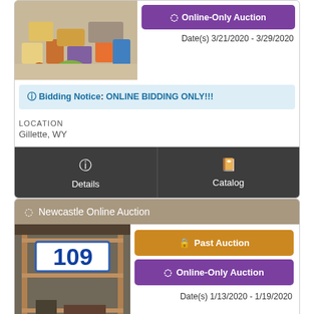[Figure (photo): Assorted toys and kitchen play items on a table]
Online-Only Auction
Date(s) 3/21/2020 - 3/29/2020
Bidding Notice: ONLINE BIDDING ONLY!!!
LOCATION
Gillette, WY
Details
Catalog
Newcastle Online Auction
[Figure (photo): Shelving unit with number 109 sign in a storage area]
Past Auction
Online-Only Auction
Date(s) 1/13/2020 - 1/19/2020